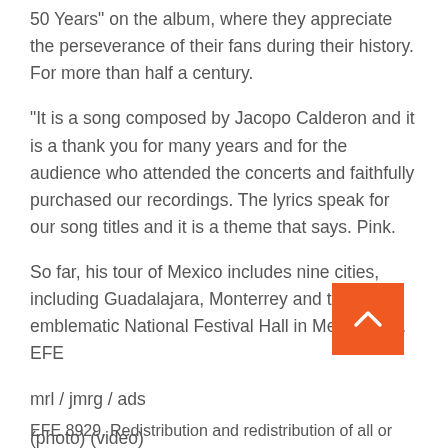50 Years” on the album, where they appreciate the perseverance of their fans during their history. For more than half a century.
“It is a song composed by Jacopo Calderon and it is a thank you for many years and for the audience who attended the concerts and faithfully purchased our recordings. The lyrics speak for our song titles and it is a theme that says. Pink.
So far, his tour of Mexico includes nine cities, including Guadalajara, Monterrey and the emblematic National Festival Hall in Mexico City. EFE
mrl / jmrg / ads
(photo) (video)
EFE 8929. Redistribution and redistribution of all or